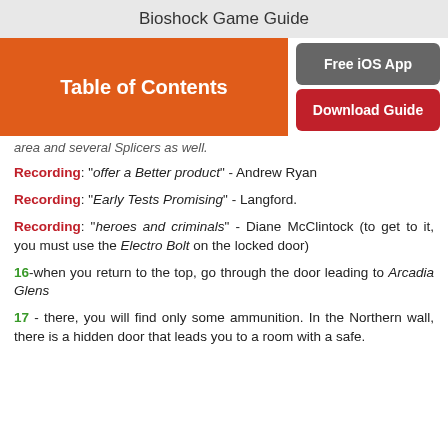Bioshock Game Guide
[Figure (screenshot): Orange Table of Contents button on left, grey Free iOS App button and red Download Guide button on right]
area and several Splicers as well.
Recording: "offer a Better product" - Andrew Ryan
Recording: "Early Tests Promising" - Langford.
Recording: "heroes and criminals" - Diane McClintock (to get to it, you must use the Electro Bolt on the locked door)
16 -when you return to the top, go through the door leading to Arcadia Glens
17 - there, you will find only some ammunition. In the Northern wall, there is a hidden door that leads you to a room with a safe.